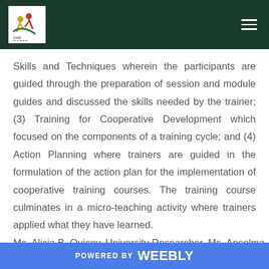ICOPED logo and navigation header
Skills and Techniques wherein the participants are guided through the preparation of session and module guides and discussed the skills needed by the trainer; (3) Training for Cooperative Development which focused on the components of a training cycle; and (4) Action Planning where trainers are guided in the formulation of the action plan for the implementation of cooperative training courses. The training course culminates in a micro-teaching activity where trainers applied what they have learned.
Ms. Alicia B. Quicoy, University Researcher, Ms. Anselma
POWERED BY weebly